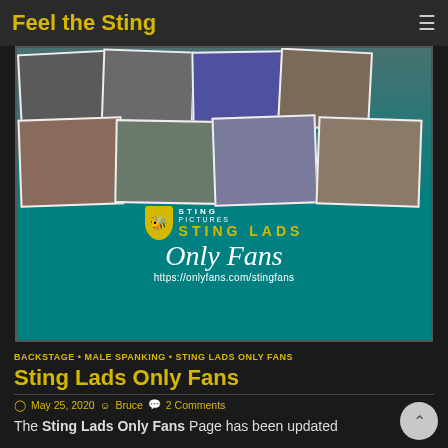Feel the Sting
[Figure (photo): Sting Lads Only Fans promotional banner with teal background, photo collage of spanking scenes, Sting Pictures logo, 'STING LADS' text, 'Only Fans' in script font, and URL https://onlyfans.com/stingfans]
BACKSTAGE • MALE SPANKING • STING LADS ONLY FANS
Sting Lads Only Fans
May 25, 2020  Bruce  2 Comments
The Sting Lads Only Fans Page has been updated